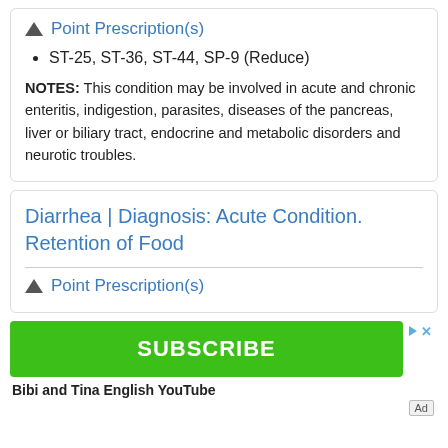Point Prescription(s)
ST-25, ST-36, ST-44, SP-9 (Reduce)
NOTES: This condition may be involved in acute and chronic enteritis, indigestion, parasites, diseases of the pancreas, liver or biliary tract, endocrine and metabolic disorders and neurotic troubles.
Diarrhea | Diagnosis: Acute Condition. Retention of Food
Point Prescription(s)
[Figure (other): Green Subscribe button advertisement with 'SUBSCRIBE' text, ad controls (play and X icons), label 'Bibi and Tina English YouTube', and an 'Ad' tag in the bottom right.]